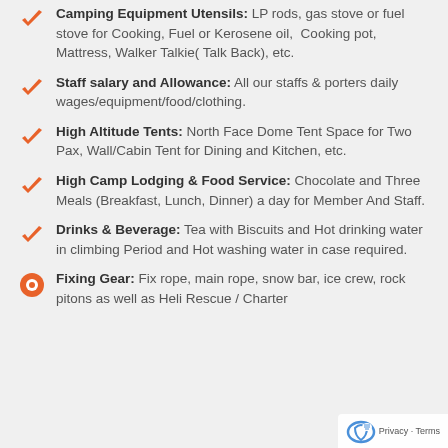Camping Equipment Utensils: LP rods, gas stove or fuel stove for Cooking, Fuel or Kerosene oil, Cooking pot, Mattress, Walker Talkie( Talk Back), etc.
Staff salary and Allowance: All our staffs & porters daily wages/equipment/food/clothing.
High Altitude Tents: North Face Dome Tent Space for Two Pax, Wall/Cabin Tent for Dining and Kitchen, etc.
High Camp Lodging & Food Service: Chocolate and Three Meals (Breakfast, Lunch, Dinner) a day for Member And Staff.
Drinks & Beverage: Tea with Biscuits and Hot drinking water in climbing Period and Hot washing water in case required.
Fixing Gear: Fix rope, main rope, snow bar, ice crew, rock pitons as well as Heli Rescue / Charter